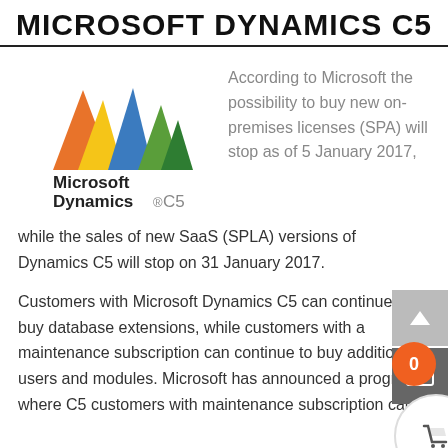MICROSOFT DYNAMICS C5
[Figure (logo): Microsoft Dynamics C5 logo with colorful triangle shapes]
According to Microsoft the possibility to buy new on-premises licenses (SPA) will stop as of 5 January 2017, while the sales of new SaaS (SPLA) versions of Dynamics C5 will stop on 31 January 2017.
Customers with Microsoft Dynamics C5 can continue to buy database extensions, while customers with a maintenance subscription can continue to buy additional users and modules. Microsoft has announced a program where C5 customers with maintenance subscription can